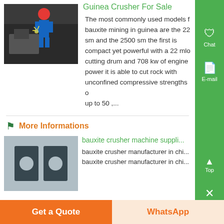[Figure (photo): Worker in blue and red clothing/helmet working near mining equipment, dark industrial background]
Guinea Crusher For Sale
The most commonly used models for bauxite mining in guinea are the 22 sm and the 2500 sm the first is compact yet powerful with a 22 mlo cutting drum and 708 kw of engine power it is able to cut rock with unconfined compressive strengths of up to 50 ,...
More Informations
[Figure (photo): Two black rectangular metal blocks with circular holes, viewed from above, on grey background]
bauxite crusher machine suppli...
bauxite crusher manufacturer in chi... bauxite crusher manufacturer in chi...